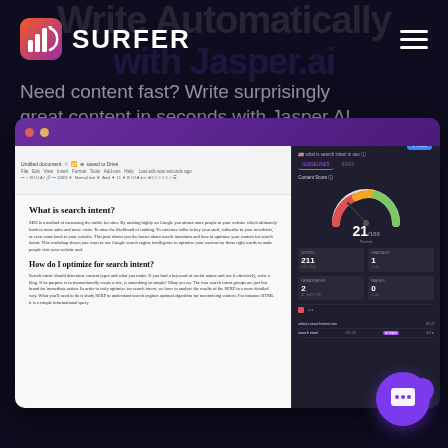SURFER
Need content fast? Write surprisingly great content in seconds with Jasper AI
[Figure (screenshot): Screenshot of Surfer SEO Google Docs integration showing a document about 'What is search intent?' with Surfer's content score panel on the right showing a score of 21]
Instantly Share with Google Docs
Push optimized content straight to